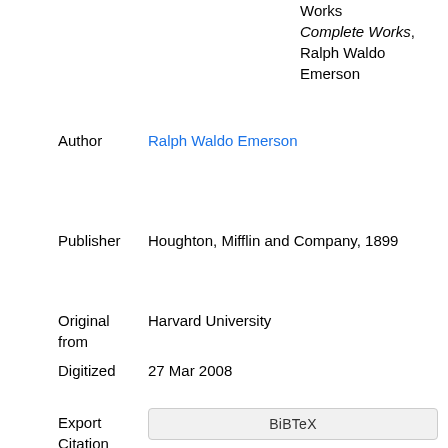Works
Complete Works, Ralph Waldo Emerson
Author	Ralph Waldo Emerson
Publisher	Houghton, Mifflin and Company, 1899
Original from	Harvard University
Digitized	27 Mar 2008
Export Citation
BiBTeX
EndNote